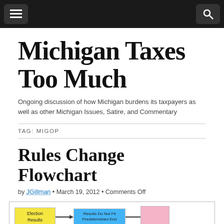Michigan Taxes Too Much — navigation bar
Michigan Taxes Too Much
Ongoing discussion of how Michigan burdens its taxpayers as well as other Michigan Issues, Satire, and Commentary
TAG: MIGOP
Rules Change Flowchart
by JGillman • March 19, 2012 • Comments Off
[Figure (flowchart): Partial flowchart showing 'Election Results' yellow box connected by arrow to 'Results Do Not Fit Predetermined End' blue box, then a line leading to a pink box (cropped)]